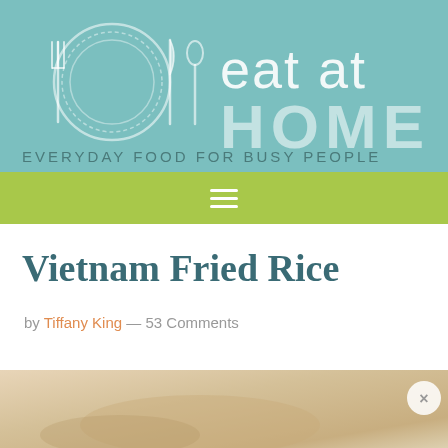[Figure (logo): Eat at Home blog logo with teal background, plate and utensils icon on left, text 'eat at HOME' on right, tagline 'EVERYDAY FOOD FOR BUSY PEOPLE' below]
[Figure (other): Green navigation bar with white hamburger menu icon]
Vietnam Fried Rice
by Tiffany King — 53 Comments
[Figure (photo): Partial food photo at bottom of page showing blurred dish, with circular close/X button overlay]